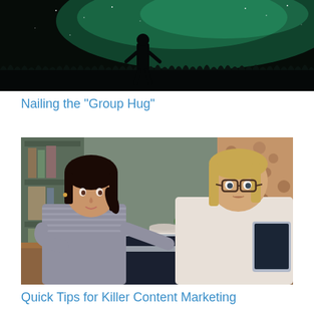[Figure (photo): Dark silhouette of a person standing in a field under a starry green/teal night sky]
Nailing the "Group Hug"
[Figure (photo): Two women sitting at a wooden table in a cafe/office setting, one with dark hair looking at a laptop, another with blonde hair and glasses looking over her shoulder]
Quick Tips for Killer Content Marketing